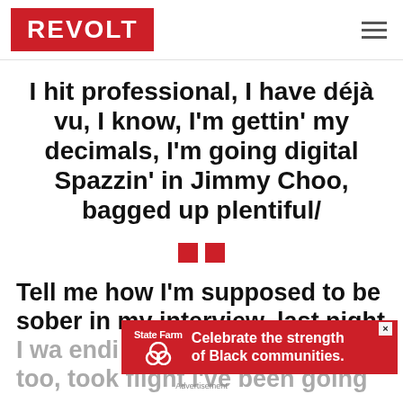REVOLT
I hit professional, I have déjà vu, I know, I'm gettin' my decimals, I'm going digital Spazzin' in Jimmy Choo, bagged up plentiful/
Tell me how I'm supposed to be sober in my interview, last night I wa... endi too, took flight I've been going
[Figure (other): State Farm advertisement banner: 'Celebrate the strength of Black communities.']